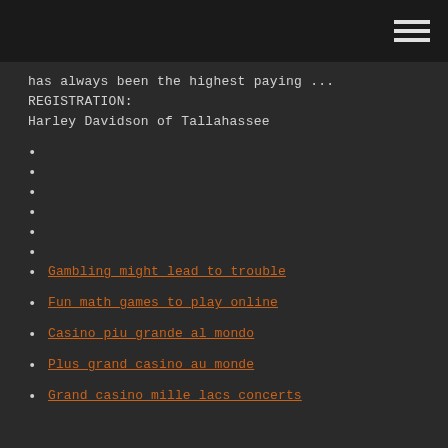[hamburger menu icon]
has always been the highest paying ... REGISTRATION: Harley Davidson of Tallahassee
Gambling might lead to trouble
Fun math games to play online
Casino piu grande al mondo
Plus grand casino au monde
Grand casino mille lacs concerts